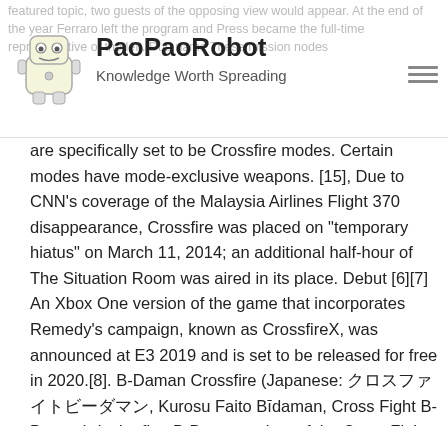PaoPaoRobot — Knowledge Worth Spreading
featured topic, two guests of the opposing view would appear. At the end of the year Ferraro left the program and Press became the full-time representative of the left. Dub name These mission nodes are specifically set to be Crossfire modes. Certain modes have mode-exclusive weapons. [15], Due to CNN's coverage of the Malaysia Airlines Flight 370 disappearance, Crossfire was placed on "temporary hiatus" on March 11, 2014; an additional half-hour of The Situation Room was aired in its place. Debut [6][7] An Xbox One version of the game that incorporates Remedy's campaign, known as CrossfireX, was announced at E3 2019 and is set to be released for free in 2020.[8]. B-Daman Crossfire (Japanese: クロスファイトビーダマン, Kurosu Faito Bīdaman, Cross Fight B-Daman), is the first B-Daman anime of the Cross Fight series and the seventh B-Daman anime series, overall. Schonfeld signed the pair to a CNN contract for $75,000 each. Crossfire In 2013, after eight years off the air, a new version of Crossfire re-launched on September 9. In 1987, Buchanan returned to the show, replacing Novak. GO Strikers 2013 Each category is functionally similar to their real world counterparts